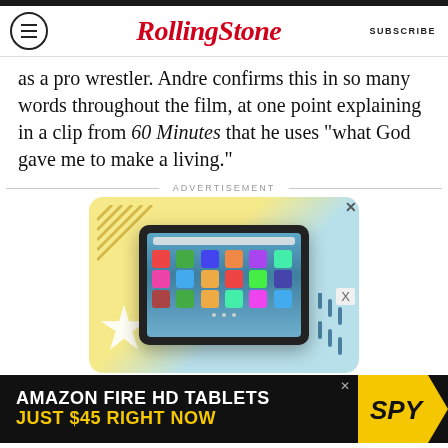Rolling Stone | SUBSCRIBE
as a pro wrestler. Andre confirms this in so many words throughout the film, at one point explaining in a clip from 60 Minutes that he uses “what God gave me to make a living.”
ADVERTISEMENT
[Figure (photo): Advertisement showing an Amazon Fire HD tablet with colorful app icons on the screen, displayed on a decorative background with yellow, light blue, and geometric shapes.]
[Figure (photo): Bottom banner ad: black background with text 'AMAZON FIRE HD TABLETS JUST $45 RIGHT NOW' in white and yellow, with SPY logo in a yellow chevron shape on the right.]